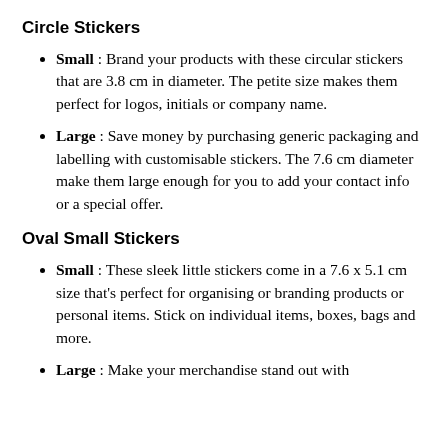Circle Stickers
Small : Brand your products with these circular stickers that are 3.8 cm in diameter. The petite size makes them perfect for logos, initials or company name.
Large : Save money by purchasing generic packaging and labelling with customisable stickers. The 7.6 cm diameter make them large enough for you to add your contact info or a special offer.
Oval Small Stickers
Small : These sleek little stickers come in a 7.6 x 5.1 cm size that's perfect for organising or branding products or personal items. Stick on individual items, boxes, bags and more.
Large : Make your merchandise stand out with